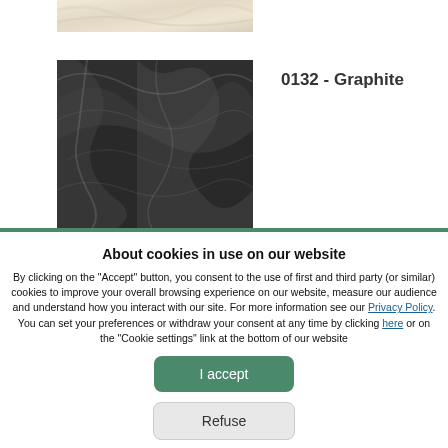[Figure (photo): Partial view of a light cream/ivory silk or satin fabric at the top of the page]
[Figure (photo): Dark graphite-colored silk or satin fabric with flowing folds]
0132 - Graphite
About cookies in use on our website
By clicking on the "Accept" button, you consent to the use of first and third party (or similar) cookies to improve your overall browsing experience on our website, measure our audience and understand how you interact with our site. For more information see our Privacy Policy. You can set your preferences or withdraw your consent at any time by clicking here or on the "Cookie settings" link at the bottom of our website
I accept
Refuse